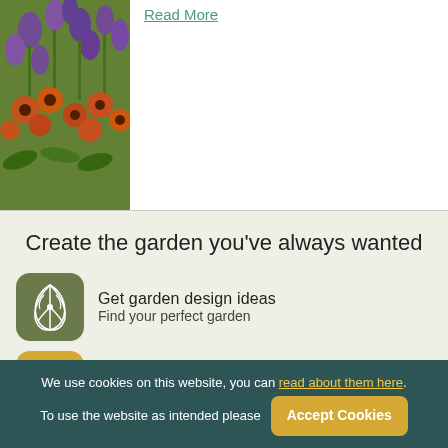[Figure (photo): Purple and orange wildflowers in a garden meadow]
Read More
Create the garden you've always wanted
[Figure (illustration): Green rounded square icon with white botanical/leaf design]
Get garden design ideas
Find your perfect garden
[Figure (illustration): Gold/yellow rounded square icon with white flower design]
Find the plants that work for you
We use cookies on this website, you can read about them here. To use the website as intended please Accept Cookies